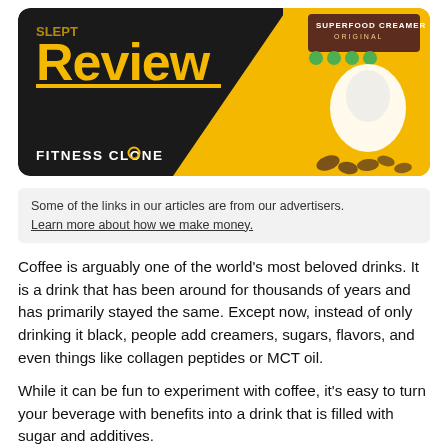[Figure (illustration): Banner image for a Fitness Clone review article featuring the word 'Review' in large yellow text on a black background, a product shot of 'Superfood Creamer Original' on an orange/yellow background with a coffee cup, and the FitnessClone logo at the bottom left.]
Some of the links in our articles are from our advertisers. Learn more about how we make money.
Coffee is arguably one of the world’s most beloved drinks. It is a drink that has been around for thousands of years and has primarily stayed the same. Except now, instead of only drinking it black, people add creamers, sugars, flavors, and even things like collagen peptides or MCT oil.
While it can be fun to experiment with coffee, it’s easy to turn your beverage with benefits into a drink that is filled with sugar and additives.